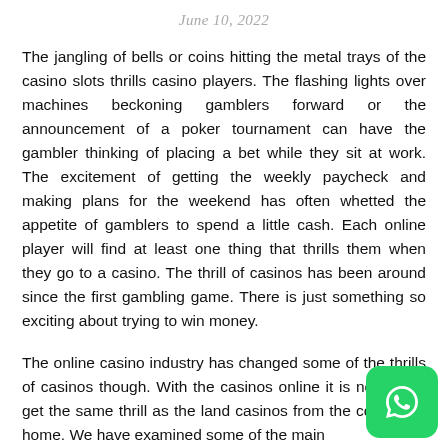June 10, 2022
The jangling of bells or coins hitting the metal trays of the casino slots thrills casino players. The flashing lights over machines beckoning gamblers forward or the announcement of a poker tournament can have the gambler thinking of placing a bet while they sit at work. The excitement of getting the weekly paycheck and making plans for the weekend has often whetted the appetite of gamblers to spend a little cash. Each online player will find at least one thing that thrills them when they go to a casino. The thrill of casinos has been around since the first gambling game. There is just something so exciting about trying to win money.
The online casino industry has changed some of the thrills of casinos though. With the casinos online it is now po to get the same thrill as the land casinos from the co of your home. We have examined some of the main